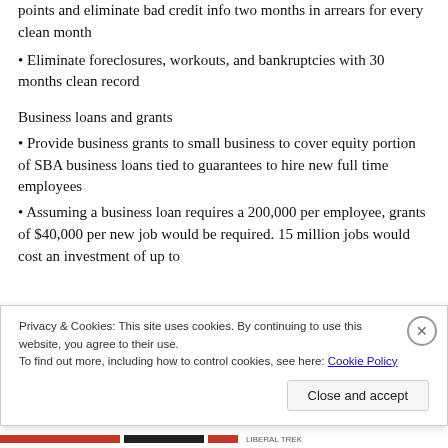points and eliminate bad credit info two months in arrears for every clean month
Eliminate foreclosures, workouts, and bankruptcies with 30 months clean record
Business loans and grants
Provide business grants to small business to cover equity portion of SBA business loans tied to guarantees to hire new full time employees
Assuming a business loan requires a 200,000 per employee, grants of $40,000 per new job would be required. 15 million jobs would cost an investment of up to
Privacy & Cookies: This site uses cookies. By continuing to use this website, you agree to their use.
To find out more, including how to control cookies, see here: Cookie Policy
Close and accept